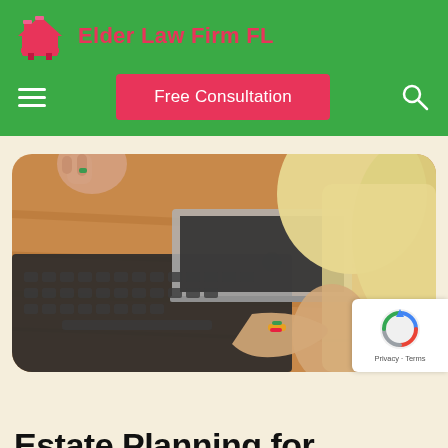Elder Law Firm FL
[Figure (logo): Pink/magenta house icon logo for Elder Law Firm FL]
[Figure (screenshot): Navigation bar with hamburger menu icon, Free Consultation button in pink/red, and search icon on green background]
[Figure (photo): Woman with blonde hair typing on a laptop at a wooden table, viewed from slightly behind, wearing colorful bracelet. Image has rounded corners.]
[Figure (logo): reCAPTCHA badge with Google reCAPTCHA icon, Privacy and Terms links]
Estate Planning for